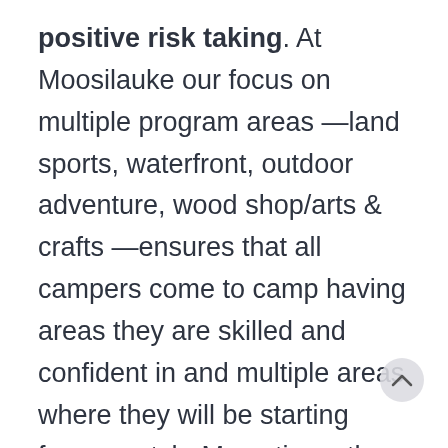positive risk taking. At Moosilauke our focus on multiple program areas —land sports, waterfront, outdoor adventure, wood shop/arts & crafts —ensures that all campers come to camp having areas they are skilled and confident in and multiple areas where they will be starting from scratch. Many times the boy with strong eye hand coordination who is confident in team sports may not have skills and experience in areas like swimming, sailing, backpacking,